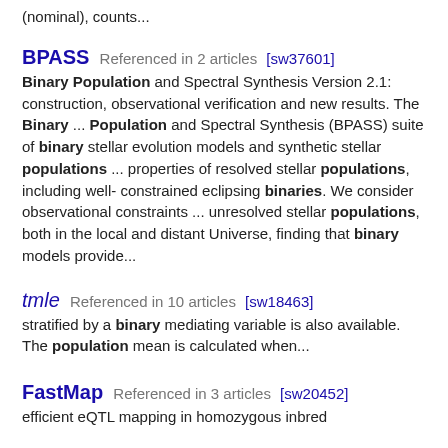(nominal), counts...
BPASS  Referenced in 2 articles  [sw37601]
Binary Population and Spectral Synthesis Version 2.1: construction, observational verification and new results. The Binary ... Population and Spectral Synthesis (BPASS) suite of binary stellar evolution models and synthetic stellar populations ... properties of resolved stellar populations, including well- constrained eclipsing binaries. We consider observational constraints ... unresolved stellar populations, both in the local and distant Universe, finding that binary models provide...
tmle  Referenced in 10 articles  [sw18463]
stratified by a binary mediating variable is also available. The population mean is calculated when...
FastMap  Referenced in 3 articles  [sw20452]
efficient eQTL mapping in homozygous inbred